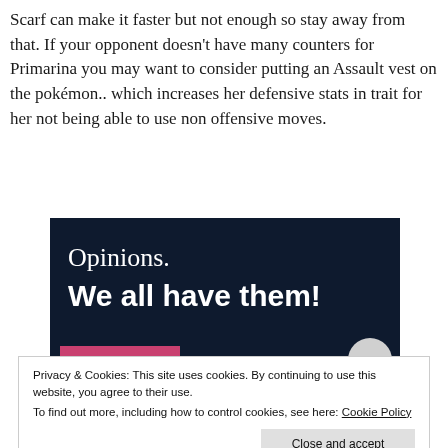Scarf can make it faster but not enough so stay away from that. If your opponent doesn't have many counters for Primarina you may want to consider putting an Assault vest on the pokémon.. which increases her defensive stats in trait for her not being able to use non offensive moves.
[Figure (illustration): Dark navy blue banner image with text 'Opinions.' and 'We all have them!' in white, a pink bar and a grey circle at the bottom.]
Privacy & Cookies: This site uses cookies. By continuing to use this website, you agree to their use.
To find out more, including how to control cookies, see here: Cookie Policy